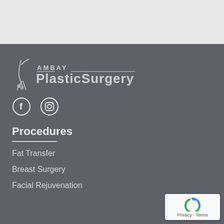[Figure (logo): Ambay Plastic Surgery logo with stylized figure and text]
[Figure (illustration): Facebook and Instagram social media icons]
Procedures
Fat Transfer
Breast Surgery
Facial Rejuvenation